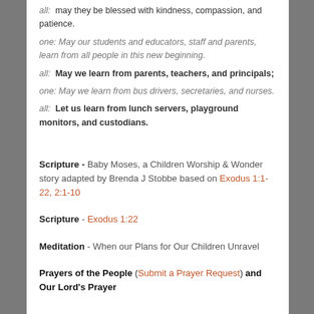all: may they be blessed with kindness, compassion, and patience.
one: May our students and educators, staff and parents, learn from all people in this new beginning.
all: May we learn from parents, teachers, and principals;
one: May we learn from bus drivers, secretaries, and nurses.
all: Let us learn from lunch servers, playground monitors, and custodians.
Scripture - Baby Moses, a Children Worship & Wonder story adapted by Brenda J Stobbe based on Exodus 1:1-22, 2:1-10
Scripture - Exodus 1:22
Meditation - When our Plans for Our Children Unravel
Prayers of the People (Submit a Prayer Request) and Our Lord's Prayer